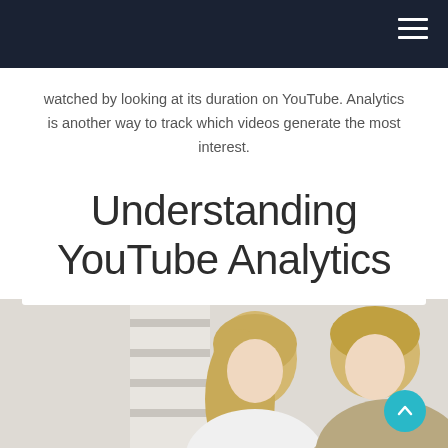watched by looking at its duration on YouTube. Analytics is another way to track which videos generate the most interest.
Understanding YouTube Analytics
[Figure (photo): Two blonde women looking down at something, possibly a laptop or document, in an office setting. One wears white, the other a beige jacket.]